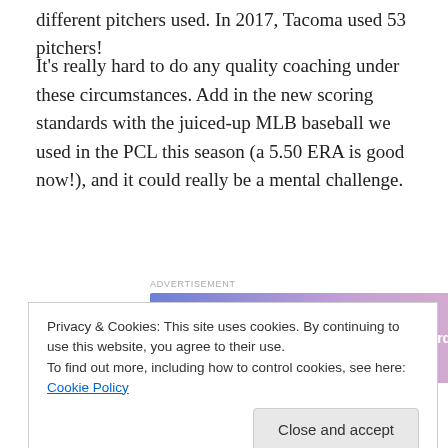different pitchers used. In 2017, Tacoma used 53 pitchers!
It’s really hard to do any quality coaching under these circumstances. Add in the new scoring standards with the juiced-up MLB baseball we used in the PCL this season (a 5.50 ERA is good now!), and it could really be a mental challenge.
[Figure (other): WordPress.com advertisement banner: 'Simplified pricing for everything you need.' with WordPress.com logo]
Hopefully Lance can unwind this offseason, play some golf
Privacy & Cookies: This site uses cookies. By continuing to use this website, you agree to their use. To find out more, including how to control cookies, see here: Cookie Policy
Former Rainiers manager Pat Listach has his team in the